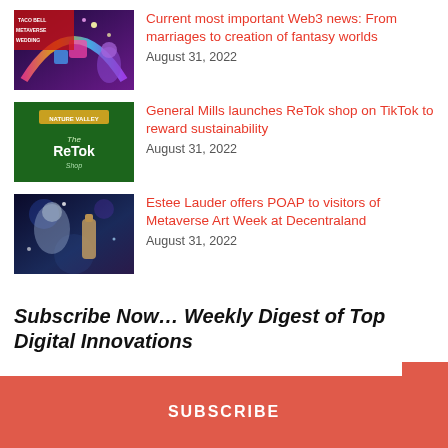[Figure (illustration): Taco Bell Metaverse Wedding colorful gaming/VR themed image with text 'METAVERSE WEDDING']
Current most important Web3 news: From marriages to creation of fantasy worlds
August 31, 2022
[Figure (illustration): General Mills ReTok shop green background with 'The ReTok Shop' logo]
General Mills launches ReTok shop on TikTok to reward sustainability
August 31, 2022
[Figure (illustration): Estee Lauder Metaverse Art Week at Decentraland - blue/purple artistic image with woman and bottle]
Estee Lauder offers POAP to visitors of Metaverse Art Week at Decentraland
August 31, 2022
Subscribe Now… Weekly Digest of Top Digital Innovations